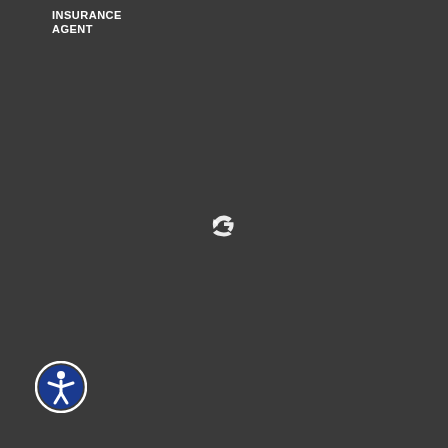INSURANCE AGENT
[Figure (logo): Google 'G' logo centered on dark background]
[Figure (logo): Accessibility icon - white figure in blue circle with white border]